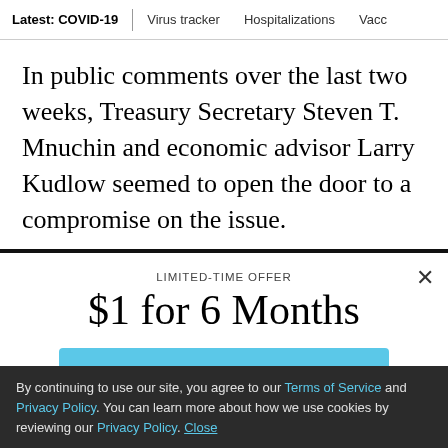Latest: COVID-19  |  Virus tracker  Hospitalizations  Vacc…
In public comments over the last two weeks, Treasury Secretary Steven T. Mnuchin and economic advisor Larry Kudlow seemed to open the door to a compromise on the issue.
LIMITED-TIME OFFER
$1 for 6 Months
SUBSCRIBE NOW
By continuing to use our site, you agree to our Terms of Service and Privacy Policy. You can learn more about how we use cookies by reviewing our Privacy Policy. Close